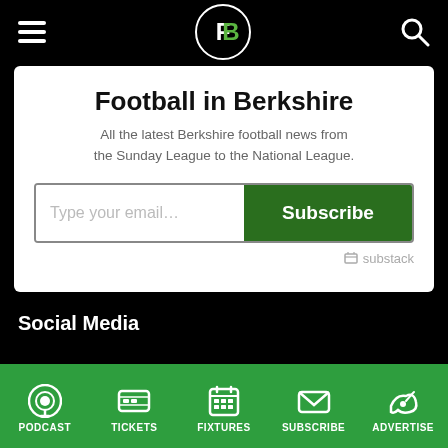Football in Berkshire - navigation header with hamburger menu, FB logo, and search icon
Football in Berkshire
All the latest Berkshire football news from the Sunday League to the National League.
[Figure (screenshot): Email subscription form with 'Type your email...' input field and green 'Subscribe' button, powered by Substack]
Social Media
PODCAST | TICKETS | FIXTURES | SUBSCRIBE | ADVERTISE